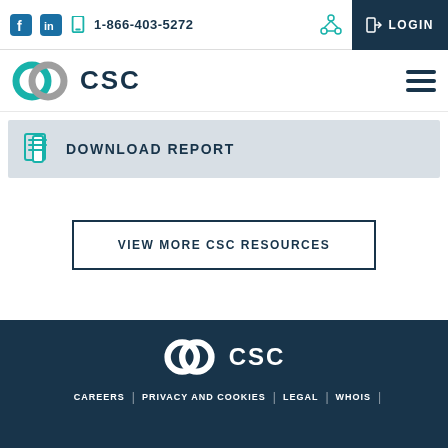1-866-403-5272  LOGIN
[Figure (logo): CSC logo with teal and gray interlocking rings and bold CSC text in dark navy]
[Figure (other): Download Report button with document icon]
[Figure (other): View More CSC Resources button with dark navy border]
CAREERS | PRIVACY AND COOKIES | LEGAL | WHOIS |